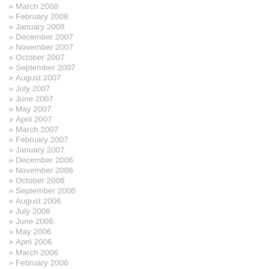» March 2008
» February 2008
» January 2008
» December 2007
» November 2007
» October 2007
» September 2007
» August 2007
» July 2007
» June 2007
» May 2007
» April 2007
» March 2007
» February 2007
» January 2007
» December 2006
» November 2006
» October 2006
» September 2006
» August 2006
» July 2006
» June 2006
» May 2006
» April 2006
» March 2006
» February 2006
» January 2006
» December 2005
» November 2005
» October 2005
» September 2005
» August 2005
» July 2005